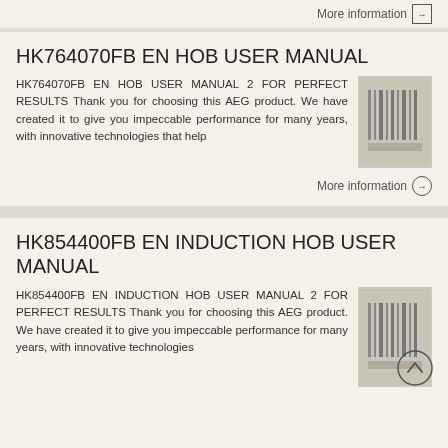More information →
HK764070FB EN HOB USER MANUAL
HK764070FB EN HOB USER MANUAL 2 FOR PERFECT RESULTS Thank you for choosing this AEG product. We have created it to give you impeccable performance for many years, with innovative technologies that help
[Figure (photo): Thumbnail image of the HK764070FB hob product manual cover]
More information →
HK854400FB EN INDUCTION HOB USER MANUAL
HK854400FB EN INDUCTION HOB USER MANUAL 2 FOR PERFECT RESULTS Thank you for choosing this AEG product. We have created it to give you impeccable performance for many years, with innovative technologies
[Figure (photo): Thumbnail image of the HK854400FB induction hob product manual cover]